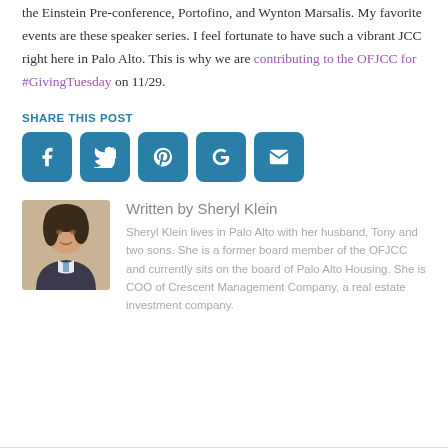the Einstein Pre-conference, Portofino, and Wynton Marsalis. My favorite events are these speaker series. I feel fortunate to have such a vibrant JCC right here in Palo Alto. This is why we are contributing to the OFJCC for #GivingTuesday on 11/29.
SHARE THIS POST
[Figure (other): Social sharing icons: Facebook, Twitter, Pinterest, Google+, Email]
[Figure (photo): Headshot photo of Sheryl Klein]
Written by Sheryl Klein
Sheryl Klein lives in Palo Alto with her husband, Tony and two sons. She is a former board member of the OFJCC and currently sits on the board of Palo Alto Housing. She is COO of Crescent Management Company, a real estate investment company.